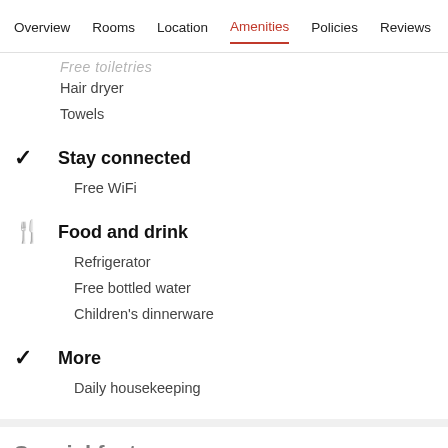Overview  Rooms  Location  Amenities  Policies  Reviews
Free toiletries (partial/cut off)
Hair dryer
Towels
Stay connected
Free WiFi
Food and drink
Refrigerator
Free bottled water
Children's dinnerware
More
Daily housekeeping
Special features